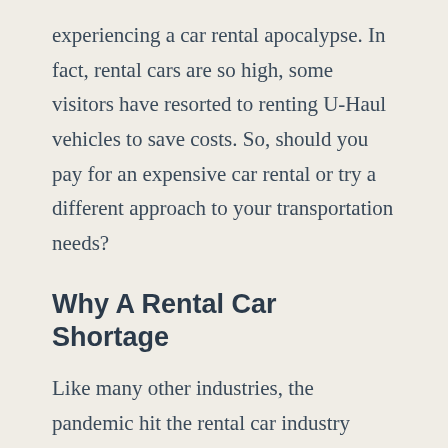experiencing a car rental apocalypse. In fact, rental cars are so high, some visitors have resorted to renting U-Haul vehicles to save costs. So, should you pay for an expensive car rental or try a different approach to your transportation needs?
Why A Rental Car Shortage
Like many other industries, the pandemic hit the rental car industry hard, losing up to 90 percent of their business. This drastic drop in revenue forced rental car agencies to sell portions of their inventory, while halting new purchases. When